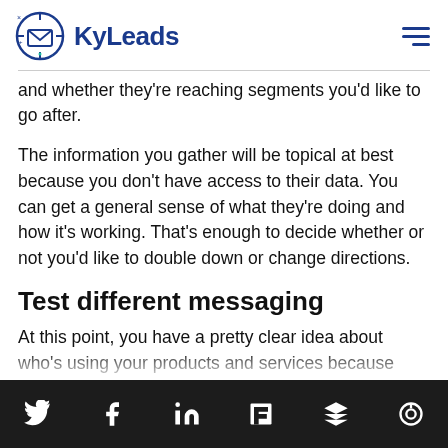KyLeads
and whether they're reaching segments you'd like to go after.
The information you gather will be topical at best because you don't have access to their data. You can get a general sense of what they're doing and how it's working. That's enough to decide whether or not you'd like to double down or change directions.
Test different messaging
At this point, you have a pretty clear idea about who's using your products and services because
Twitter, Facebook, LinkedIn, Flipboard, Buffer, Spectacle icons